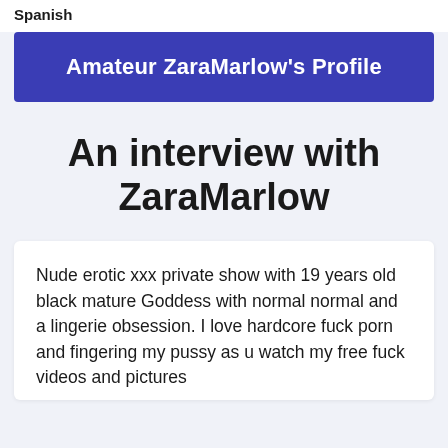Spanish
Amateur ZaraMarlow's Profile
An interview with ZaraMarlow
Nude erotic xxx private show with 19 years old black mature Goddess with normal normal and a lingerie obsession. I love hardcore fuck porn and fingering my pussy as u watch my free fuck videos and pictures